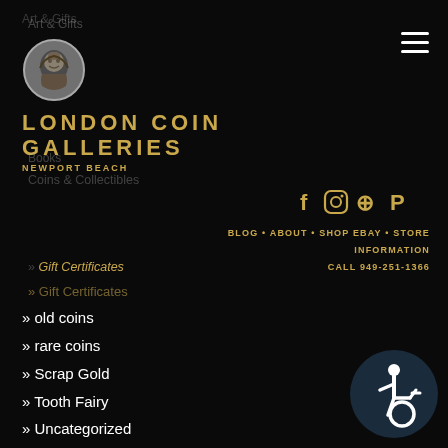[Figure (logo): London Coin Galleries Newport Beach logo with circular coin medallion image]
LONDON COIN GALLERIES NEWPORT BEACH
Art & Gifts
Books
Coins & Collectibles
Gift Certificates
Gifts
Gold Jewelry
locations
News
BLOG • ABOUT • SHOP EBAY • STORE INFORMATION
CALL 949-251-1366
old coins
rare coins
Scrap Gold
Tooth Fairy
Uncategorized
[Figure (illustration): Accessibility wheelchair icon button in dark navy circle]